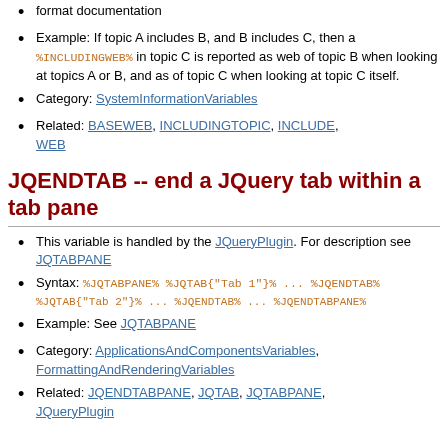format documentation
Example: If topic A includes B, and B includes C, then a %INCLUDINGWEB% in topic C is reported as web of topic B when looking at topics A or B, and as of topic C when looking at topic C itself.
Category: SystemInformationVariables
Related: BASEWEB, INCLUDINGTOPIC, INCLUDE, WEB
JQENDTAB -- end a JQuery tab within a tab pane
This variable is handled by the JQueryPlugin. For description see JQTABPANE
Syntax: %JQTABPANE% %JQTAB{"Tab 1"}% ... %JQENDTAB% %JQTAB{"Tab 2"}% ... %JQENDTAB% ... %JQENDTABPANE%
Example: See JQTABPANE
Category: ApplicationsAndComponentsVariables, FormattingAndRenderingVariables
Related: JQENDTABPANE, JQTAB, JQTABPANE, JQueryPlugin